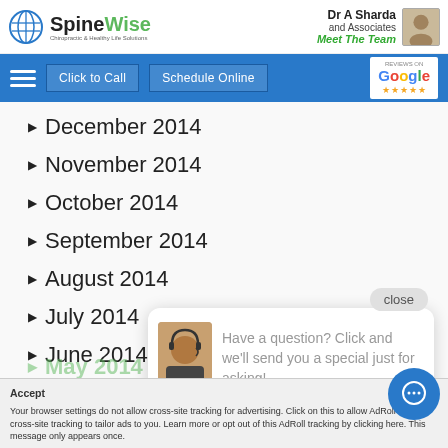SpineWise — Dr A Sharda and Associates | Meet The Team
December 2014
November 2014
October 2014
September 2014
August 2014
July 2014
June 2014
[Figure (screenshot): Chat popup bubble with support avatar and text: Have a question? Click and we'll send you a special just for asking!]
close
Your browser settings do not allow cross-site tracking for advertising. Click on this to allow AdRoll to use cross-site tracking to tailor ads to you. Learn more or opt out of this AdRoll tracking by clicking here. This message only appears once.